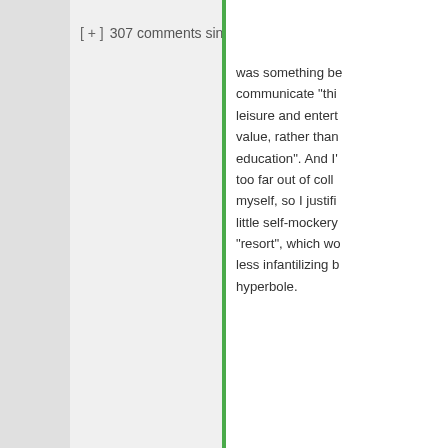[ + ]  307 comments since  1970-01-01 00:0
was something be communicate "thi leisure and entert value, rather than education". And I' too far out of coll myself, so I justifi little self-mockery "resort", which wo less infantilizing b hyperbole.
Hide 1
[Figure (logo): Green decorative snowflake/cross pattern avatar icon]
Nornagest says: June 26, 2018 at 1:41 pm ~new I'm not highly impressed with the discourse around learnin